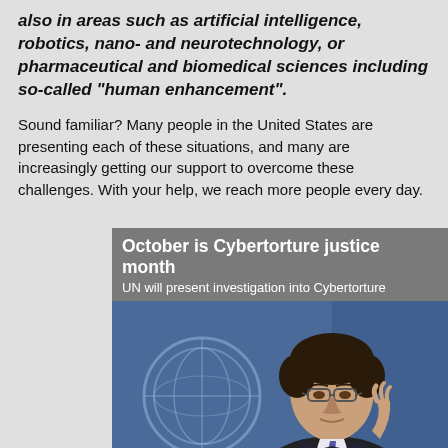also in areas such as artificial intelligence, robotics, nano- and neurotechnology, or pharmaceutical and biomedical sciences including so-called “human enhancement”.
Sound familiar? Many people in the United States are presenting each of these situations, and many are increasingly getting our support to overcome these challenges. With your help, we reach more people every day.
[Figure (photo): Banner reading 'October is Cybertorture justice month' with subtitle 'UN will present investigation into Cybertorture', below which is a photograph of a man with glasses in a suit speaking, with a UN emblem visible in the background.]